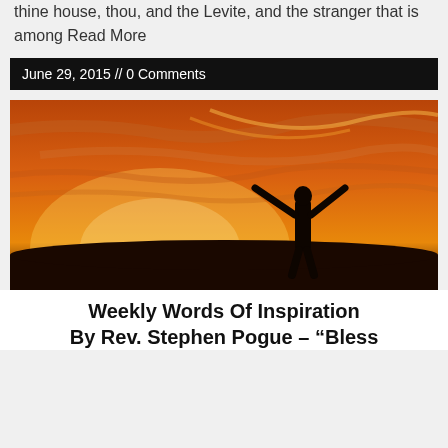thine house, thou, and the Levite, and the stranger that is among Read More
June 29, 2015 // 0 Comments
[Figure (photo): Silhouette of a person with arms raised wide against a dramatic orange and golden sunset sky with wispy clouds]
Weekly Words Of Inspiration By Rev. Stephen Pogue – “Bless